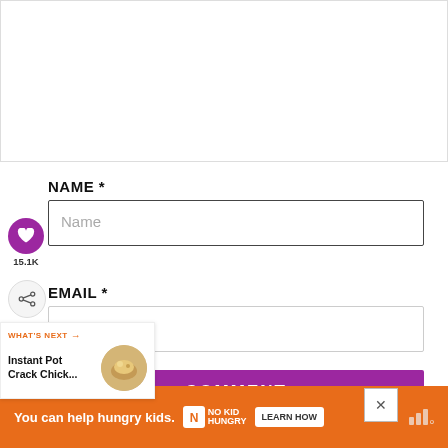[Figure (screenshot): White empty content area at top of page]
NAME *
Name (placeholder input field)
15.1K
EMAIL *
[Figure (screenshot): Email input field, empty]
[Figure (screenshot): What's Next card showing Instant Pot Crack Chick... with food thumbnail]
COMMENT
[Figure (infographic): Ad banner: You can help hungry kids. No Kid Hungry. Learn How.]